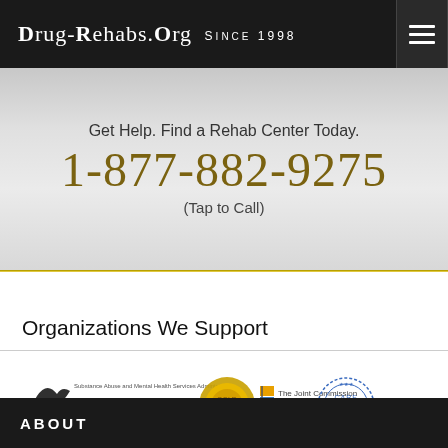Drug-Rehabs.org Since 1998
Get Help. Find a Rehab Center Today.
1-877-882-9275
(Tap to Call)
Organizations We Support
[Figure (logo): Logos of SAMHSA with gold seal, The Joint Commission, and CARF International]
ABOUT